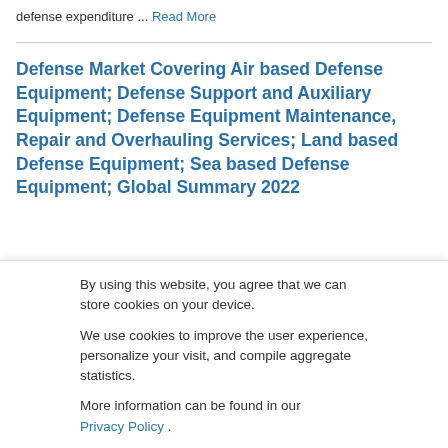defense expenditure ... Read More
Defense Market Covering Air based Defense Equipment; Defense Support and Auxiliary Equipment; Defense Equipment Maintenance, Repair and Overhauling Services; Land based Defense Equipment; Sea based Defense Equipment; Global Summary 2022
By using this website, you agree that we can store cookies on your device.

We use cookies to improve the user experience, personalize your visit, and compile aggregate statistics.

More information can be found in our Privacy Policy .